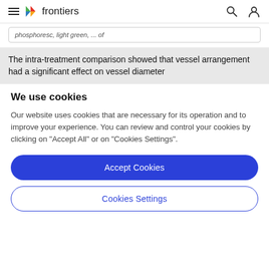frontiers
phosphoresc, light green, ... of
The intra-treatment comparison showed that vessel arrangement had a significant effect on vessel diameter
We use cookies
Our website uses cookies that are necessary for its operation and to improve your experience. You can review and control your cookies by clicking on "Accept All" or on "Cookies Settings".
Accept Cookies
Cookies Settings